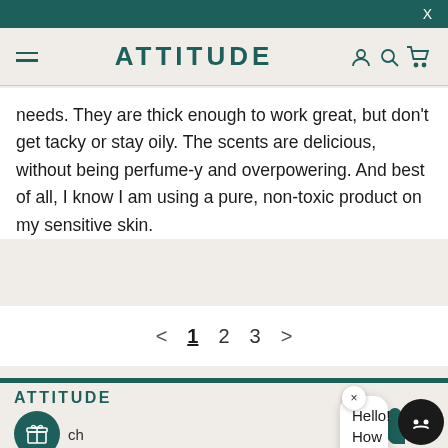X
ATTITUDE
needs. They are thick enough to work great, but don't get tacky or stay oily. The scents are delicious, without being perfume-y and overpowering. And best of all, I know I am using a pure, non-toxic product on my sensitive skin.
< 1 2 3 >
ATTITUDE
Hello! How may I help you?
ch
Discover Us